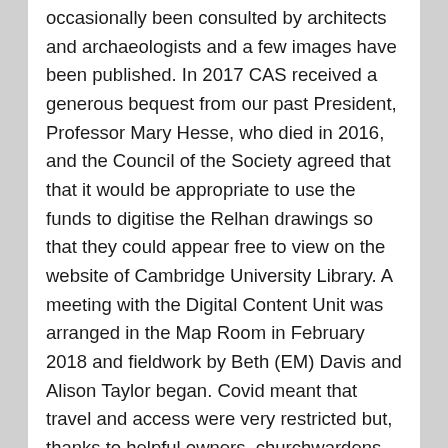occasionally been consulted by architects and archaeologists and a few images have been published. In 2017 CAS received a generous bequest from our past President, Professor Mary Hesse, who died in 2016, and the Council of the Society agreed that that it would be appropriate to use the funds to digitise the Relhan drawings so that they could appear free to view on the website of Cambridge University Library. A meeting with the Digital Content Unit was arranged in the Map Room in February 2018 and fieldwork by Beth (EM) Davis and Alison Taylor began. Covid meant that travel and access were very restricted but, thanks to helpful owners, churchwardens and clergy Alison was able to safely visit churches and houses during the summer months and, with help from knowledgeable colleagues and the internet continued writing the texts and prepared it for online publication.
Montagu Benton wrote a short piece for The East Anglian (1909) to promote interest in the drawings ending 'the